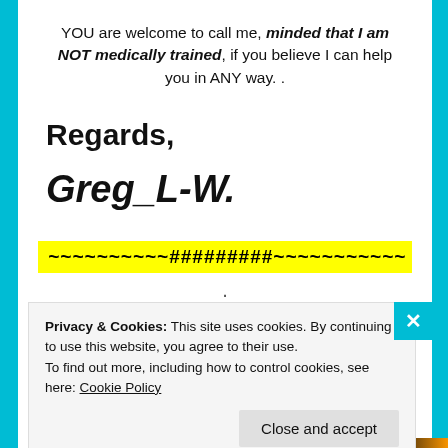YOU are welcome to call me, minded that I am NOT medically trained, if you believe I can help you in ANY way. .
Regards,
Greg_L-W.
~~~~~~~~~~#########~~~~~~~~~~~
.
Privacy & Cookies: This site uses cookies. By continuing to use this website, you agree to their use.
To find out more, including how to control cookies, see here: Cookie Policy
Close and accept